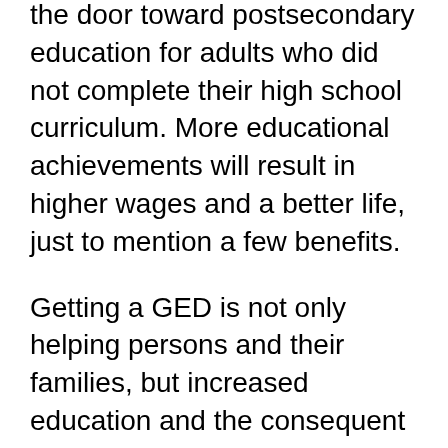the door toward postsecondary education for adults who did not complete their high school curriculum. More educational achievements will result in higher wages and a better life, just to mention a few benefits.
Getting a GED is not only helping persons and their families, but increased education and the consequent income bumps are also beneficial to the economy of our states and country.
Better educated Americans will be more productive, will earn more money, and thus be contributing more in taxes. Learning to improve your reading and writing skills is not only useful for your GED diploma, but it will also prove very beneficial in all aspects of